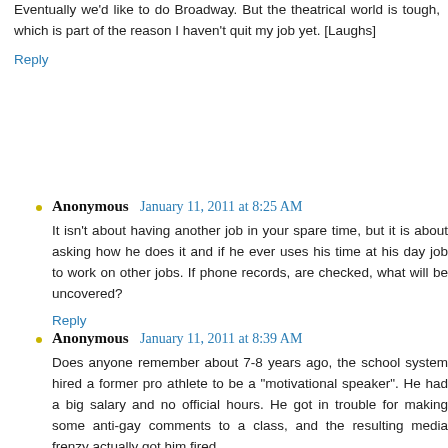Eventually we'd like to do Broadway. But the theatrical world is tough, which is part of the reason I haven't quit my job yet. [Laughs]
Reply
Anonymous  January 11, 2011 at 8:25 AM
It isn't about having another job in your spare time, but it is about asking how he does it and if he ever uses his time at his day job to work on other jobs. If phone records, are checked, what will be uncovered?
Reply
Anonymous  January 11, 2011 at 8:39 AM
Does anyone remember about 7-8 years ago, the school system hired a former pro athlete to be a "motivational speaker". He had a big salary and no official hours. He got in trouble for making some anti-gay comments to a class, and the resulting media frenzy actually got him fired.